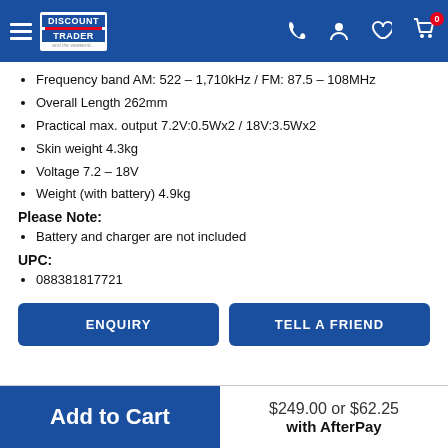Discount Trader — navigation header with hamburger menu, phone, account, wishlist, cart icons
Frequency band AM: 522 – 1,710kHz / FM: 87.5 – 108MHz
Overall Length 262mm
Practical max. output 7.2V:0.5Wx2 / 18V:3.5Wx2
Skin weight 4.3kg
Voltage 7.2 – 18V
Weight (with battery) 4.9kg
Please Note:
Battery and charger are not included
UPC:
088381817721
ENQUIRY | TELL A FRIEND
Add to Cart — $249.00 or $62.25 with AfterPay